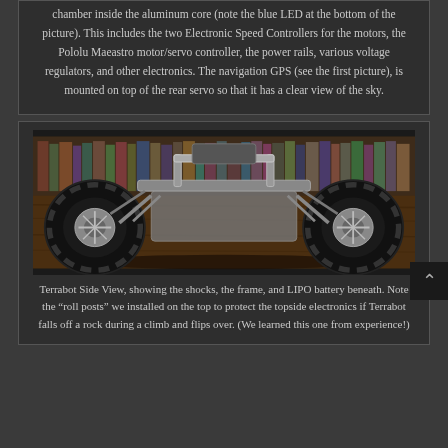chamber inside the aluminum core (note the blue LED at the bottom of the picture). This includes the two Electronic Speed Controllers for the motors, the Pololu Maeastro motor/servo controller, the power rails, various voltage regulators, and other electronics. The navigation GPS (see the first picture), is mounted on top of the rear servo so that it has a clear view of the sky.
[Figure (photo): Side view of Terrabot RC robot vehicle with large off-road tires, metal frame, visible shocks, and LIPO battery beneath. Roll posts visible on top.]
Terrabot Side View, showing the shocks, the frame, and LIPO battery beneath. Note the "roll posts" we installed on the top to protect the topside electronics if Terrabot falls off a rock during a climb and flips over. (We learned this one from experience!)